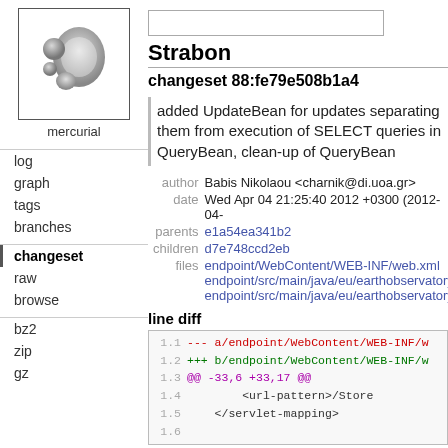[Figure (logo): Mercurial logo — stylized grey comma/yin-yang shapes inside a square border, with 'mercurial' label below]
log
graph
tags
branches
changeset
raw
browse
bz2
zip
gz
Strabon
changeset 88:fe79e508b1a4
added UpdateBean for updates separating them from execution of SELECT queries in QueryBean, clean-up of QueryBean
| key | value |
| --- | --- |
| author | Babis Nikolaou <charnik@di.uoa.gr> |
| date | Wed Apr 04 21:25:40 2012 +0300 (2012-04-... |
| parents | e1a54ea341b2 |
| children | d7e748ccd2eb |
| files | endpoint/WebContent/WEB-INF/web.xml
endpoint/src/main/java/eu/earthobservatory...
endpoint/src/main/java/eu/earthobservatory... |
line diff
1.1  --- a/endpoint/WebContent/WEB-INF/w...
1.2  +++ b/endpoint/WebContent/WEB-INF/w...
1.3  @@ -33,6 +33,17 @@
1.4       <url-pattern>/Store...
1.5  </servlet-mapping>
1.6